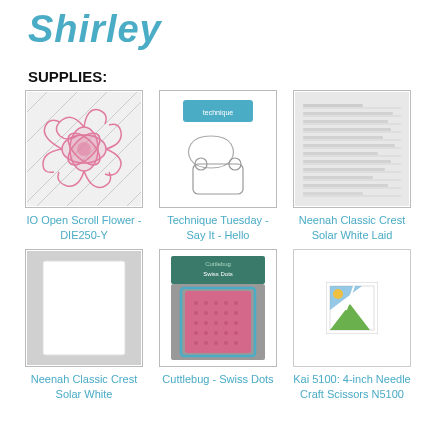Shirley
SUPPLIES:
[Figure (illustration): IO Open Scroll Flower die cut product image - pink floral scroll design on white/grey background]
IO Open Scroll Flower - DIE250-Y
[Figure (illustration): Technique Tuesday - Say It - Hello die set product image]
Technique Tuesday - Say It - Hello
[Figure (illustration): Neenah Classic Crest Solar White Laid paper product image with text]
Neenah Classic Crest Solar White Laid
[Figure (illustration): Neenah Classic Crest Solar White paper product image - plain white card]
Neenah Classic Crest Solar White
[Figure (illustration): Cuttlebug Swiss Dots embossing folder product image - pink textured rectangle in packaging]
Cuttlebug - Swiss Dots
[Figure (illustration): Broken image icon placeholder for Kai 5100 scissors]
Kai 5100: 4-inch Needle Craft Scissors N5100